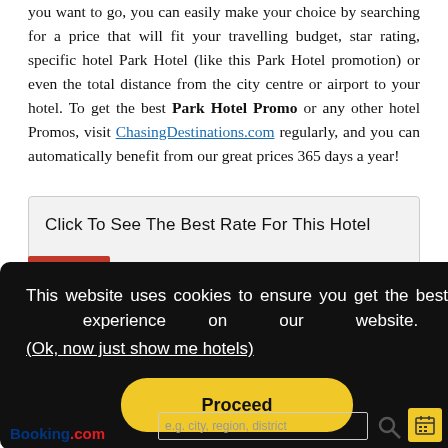you want to go, you can easily make your choice by searching for a price that will fit your travelling budget, star rating, specific hotel Park Hotel (like this Park Hotel promotion) or even the total distance from the city centre or airport to your hotel. To get the best Park Hotel Promo or any other hotel Promos, visit ChasingDestinations.com regularly, and you can automatically benefit from our great prices 365 days a year!
[Figure (screenshot): A grey box with text 'Click To See The Best Rate For This Hotel' and a red bar at the bottom left]
This website uses cookies to ensure you get the best experience on our website. (Ok, now just show me hotels)
Proceed
[Figure (screenshot): Booking.com search bar with placeholder text 'e.g. city, region, district' and search/calendar icons]